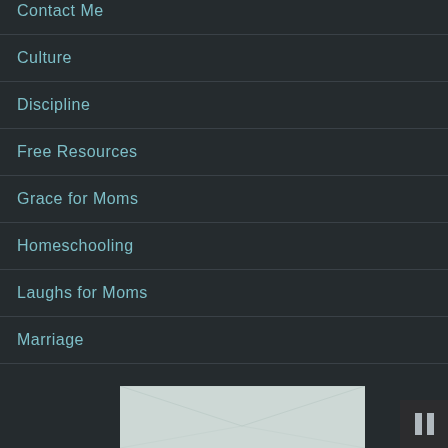Contact Me
Culture
Discipline
Free Resources
Grace for Moms
Homeschooling
Laughs for Moms
Marriage
Speaking Engagements
[Figure (photo): Partial view of an envelope or letter image at the bottom of the page, with a pause button overlay in the bottom right corner]